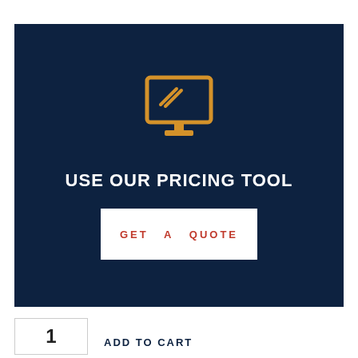[Figure (illustration): Dark navy blue banner with orange computer/monitor icon, white bold text 'USE OUR PRICING TOOL', and white rectangle button with red spaced text 'GET A QUOTE']
USE OUR PRICING TOOL
GET A QUOTE
1
ADD TO CART